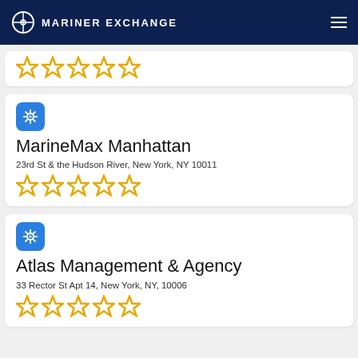MARINER EXCHANGE
[Figure (other): Partial card showing 5 empty star ratings (cropped at top)]
[Figure (logo): Blue rounded square icon with ship steering wheel]
MarineMax Manhattan
23rd St & the Hudson River, New York, NY 10011
[Figure (other): 5 empty yellow star rating icons]
[Figure (logo): Blue rounded square icon with ship steering wheel]
Atlas Management & Agency
33 Rector St Apt 14, New York, NY, 10006
[Figure (other): 5 empty yellow star rating icons]